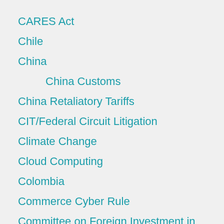CARES Act
Chile
China
China Customs
China Retaliatory Tariffs
CIT/Federal Circuit Litigation
Climate Change
Cloud Computing
Colombia
Commerce Cyber Rule
Committee on Foreign Investment in the U.S. (CFIUS)
Communist Chinese Military Companies